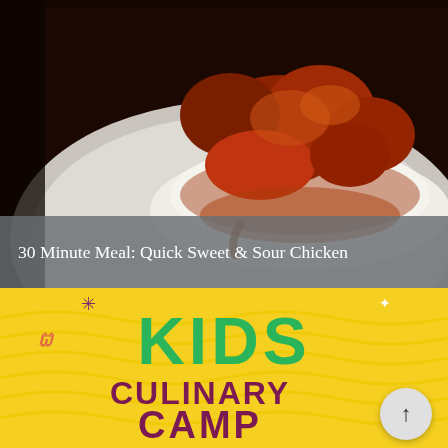[Figure (photo): Close-up photo of sweet and sour chicken pieces covered in reddish-brown sauce served over white rice on a white plate. Dark background on the left edge.]
30 Minute Meal: Quick Sweet & Sour Chicken
[Figure (illustration): Yellow background with wave pattern and text 'KIDS CULINARY CAMP' in green and dark purple/maroon bold letters. Decorative asterisk/star in purple top left area, white star top right, orange swirl decoration on left. Circular arrow-up button on bottom right.]